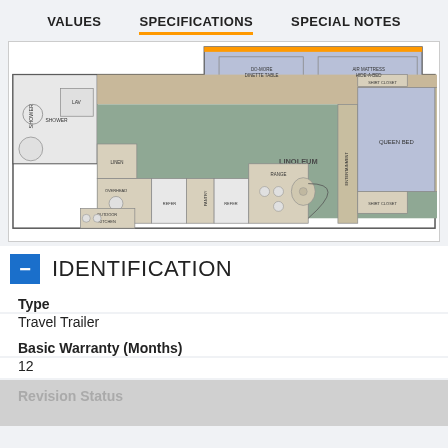VALUES | SPECIFICATIONS | SPECIAL NOTES
[Figure (engineering-diagram): RV/Travel Trailer floorplan showing: SHOWER, LAV, LINEN, OVERHEAD, REFER (x2), PANTRY, RANGE, OUTDOOR KITCHEN, DO-MORE DINETTE TABLE, AIR MATTRESS HIDE-A-BED, CARPET, LINOLEUM, ENTERTAINMENT, QUEEN BED, OVERHEAD, SHIRT CLOSET (x2)]
IDENTIFICATION
Type
Travel Trailer
Basic Warranty (Months)
12
Revision Status